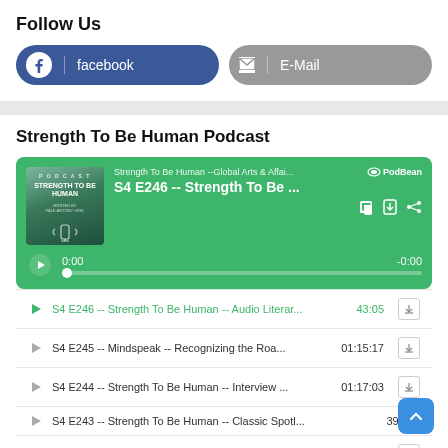Follow Us
[Figure (infographic): Facebook and E-Mail follow buttons]
Strength To Be Human Podcast
[Figure (screenshot): PodBean podcast player widget showing S4 E246 -- Strength To Be ... with green background, cover art, play button, 0:00 / -0:00 time display]
S4 E246 -- Strength To Be Human -- Audio Literar...  43:05
S4 E245 -- Mindspeak -- Recognizing the Roa...  01:15:17
S4 E244 -- Strength To Be Human -- Interview ...  01:17:03
S4 E243 -- Strength To Be Human -- Classic Spotl...  39:12
S4 E242 Strength To Be Human -- Interview Wi...  01:05:38